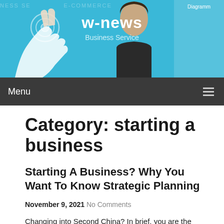[Figure (illustration): Website header banner with cyan/blue background, hand touching digital icons on left, man in suit on right, 'w-news Business Service' text overlay, and diagram box on far right]
Menu
Category: starting a business
Starting A Business? Why You Want To Know Strategic Planning
November 9, 2021 No Comments
Changing into Second China? In brief, you are the boss and employee at the same time, until you intend to rent individuals below you. In order for a small enterprise to achieve success, it must remedy an issue, fulfill a necessity or provide something the marketplace desires. The marketplace place dictates these qualities...